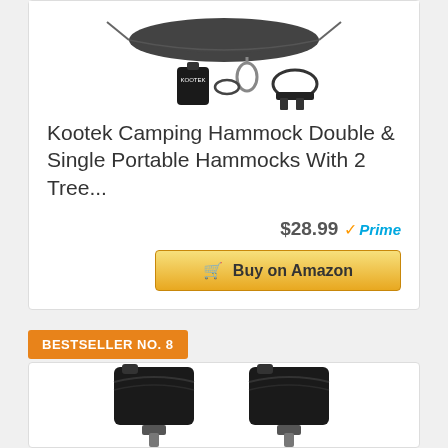[Figure (photo): Kootek camping hammock product photo showing black hammock, carry bag, carabiners, and tree straps]
Kootek Camping Hammock Double & Single Portable Hammocks With 2 Tree...
$28.99 ✓Prime
🛒 Buy on Amazon
BESTSELLER NO. 8
[Figure (photo): Black canopy weight sandbags product photo, two sandbags shown]